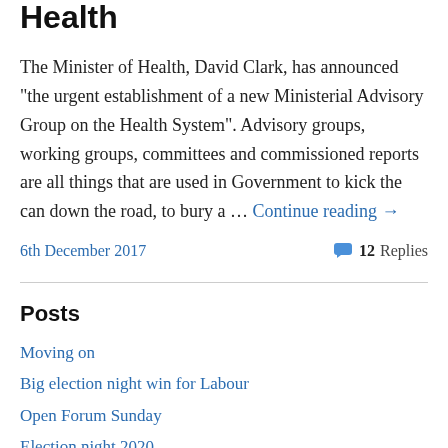Health
The Minister of Health, David Clark, has announced "the urgent establishment of a new Ministerial Advisory Group on the Health System". Advisory groups, working groups, committees and commissioned reports are all things that are used in Government to kick the can down the road, to bury a … Continue reading →
6th December 2017
12 Replies
Posts
Moving on
Big election night win for Labour
Open Forum Sunday
Election night 2020
Open Forum Saturday